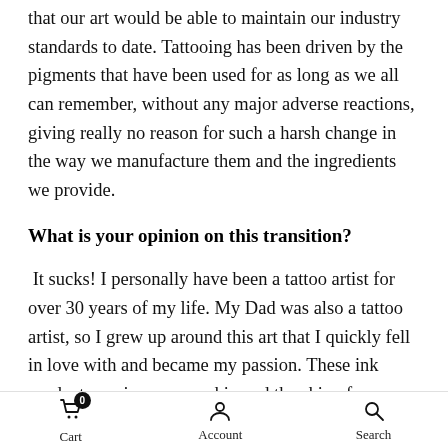that our art would be able to maintain our industry standards to date. Tattooing has been driven by the pigments that have been used for as long as we all can remember, without any major adverse reactions, giving really no reason for such a harsh change in the way we manufacture them and the ingredients we provide.
What is your opinion on this transition?
It sucks! I personally have been a tattoo artist for over 30 years of my life. My Dad was also a tattoo artist, so I grew up around this art that I quickly fell in love with and became my passion. These ink products are in my own skin and the skin of my family. The industry has cer grown tremendously over these years... opening the
Cart  Account  Search